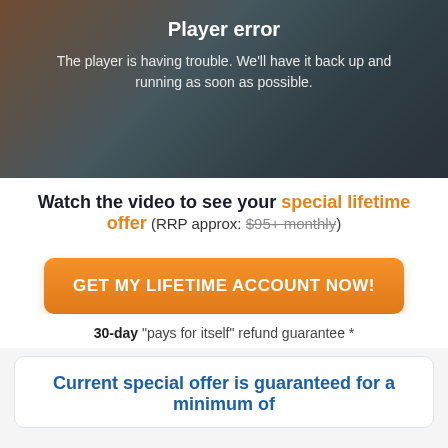[Figure (screenshot): Video player error screen showing blurred photo of three young people looking at laptop, with 'Player error' title and message overlay]
Player error
The player is having trouble. We'll have it back up and running as soon as possible.
Watch the video to see your special lifetime offer (RRP approx: $95+ monthly)
GET MY LIFETIME ACCOUNT NOW!
30-day "pays for itself" refund guarantee *
Current special offer is guaranteed for a minimum of